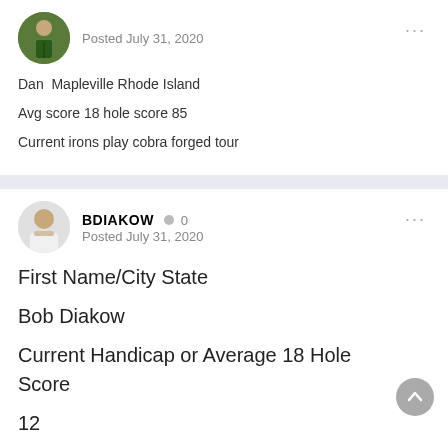[Figure (photo): Golf player avatar photo, circular crop, green background with golfer figure]
Posted July 31, 2020
Dan  Mapleville Rhode Island
Avg score 18 hole score 85
Current irons play cobra forged tour
[Figure (photo): Man in white shirt, circular avatar photo]
BDIAKOW  0
Posted July 31, 2020
First Name/City State
Bob Diakow
Current Handicap or Average 18 Hole Score
12